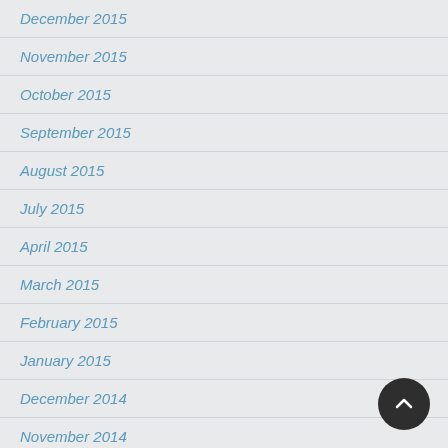December 2015
November 2015
October 2015
September 2015
August 2015
July 2015
April 2015
March 2015
February 2015
January 2015
December 2014
November 2014
October 2014